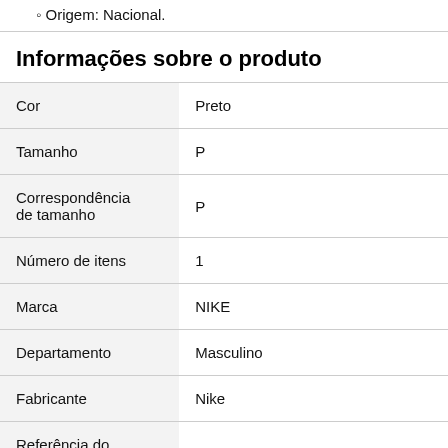Origem: Nacional.
Informações sobre o produto
| Atributo | Valor |
| --- | --- |
| Cor | Preto |
| Tamanho | P |
| Correspondência de tamanho | P |
| Número de itens | 1 |
| Marca | NIKE |
| Departamento | Masculino |
| Fabricante | Nike |
| Referência... |  |